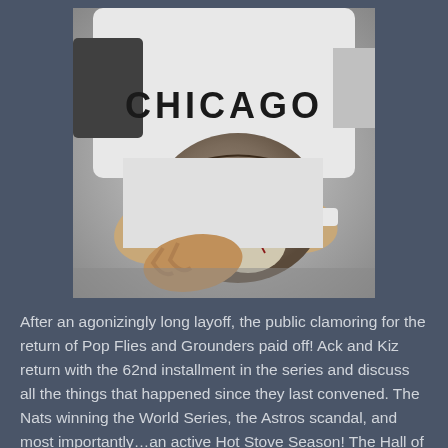[Figure (photo): Black and white close-up photograph of a baseball player wearing a Chicago White Sox jersey (number 72), holding a baseball glove with a ball in it.]
After an agonizingly long layoff, the public clamoring for the return of Pop Flies and Grounders paid off! Ack and Kiz return with the 62nd installment in the series and discuss all the things that happened since they last convened. The Nats winning the World Series, the Astros scandal, and most importantly…an active Hot Stove Season! The Hall of Famer and original Pudge, Carlton Fisk, is today's Baseball Reference Page of the Day.